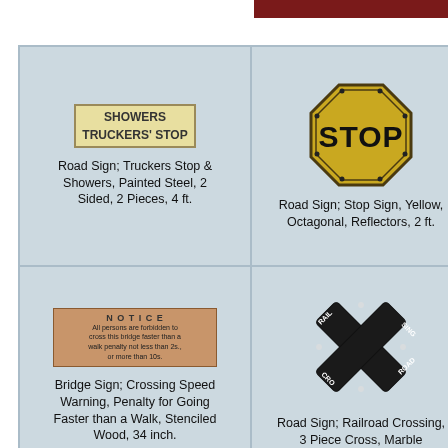[Figure (other): Dark red/maroon horizontal bar at top right]
[Figure (photo): Showers Truckers Stop painted steel road sign, 2-sided, 2 pieces]
Road Sign; Truckers Stop & Showers, Painted Steel, 2 Sided, 2 Pieces, 4 ft.
[Figure (photo): Yellow octagonal stop sign with reflectors, 2 ft.]
Road Sign; Stop Sign, Yellow, Octagonal, Reflectors, 2 ft.
Ha... Pa...
[Figure (photo): Stenciled wood bridge crossing speed warning notice sign, 34 inch]
Bridge Sign; Crossing Speed Warning, Penalty for Going Faster than a Walk, Stenciled Wood, 34 inch.
[Figure (photo): Railroad crossing 3 piece cross sign with marble reflectors, 40 inch]
Road Sign; Railroad Crossing, 3 Piece Cross, Marble Reflectors, 40 inch.
R... Pai...
[Figure (photo): Partial view of a road sign at bottom left]